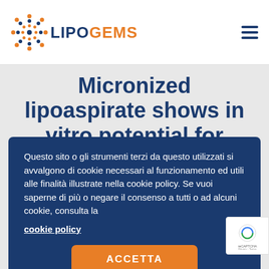LIPOGEMS
Micronized lipoaspirate shows in vitro potential for Intraarticular
Questo sito o gli strumenti terzi da questo utilizzati si avvalgono di cookie necessari al funzionamento ed utili alle finalità illustrate nella cookie policy. Se vuoi saperne di più o negare il consenso a tutti o ad alcuni cookie, consulta la cookie policy
ACCETTA